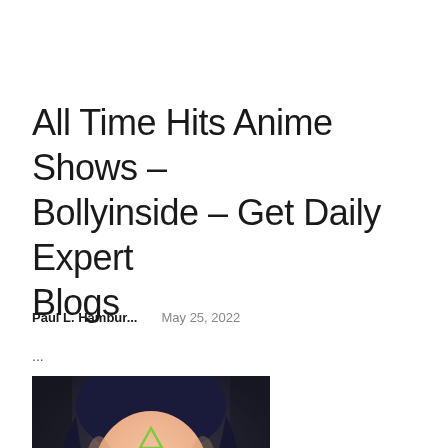All Time Hits Anime Shows – Bollyinside – Get Daily Expert Blogs
Paul L. Hambur...    May 25, 2022
...
[Figure (illustration): Anime character with dark blue hair, golden eyes, and a green triangle symbol on forehead, close-up face portrait]